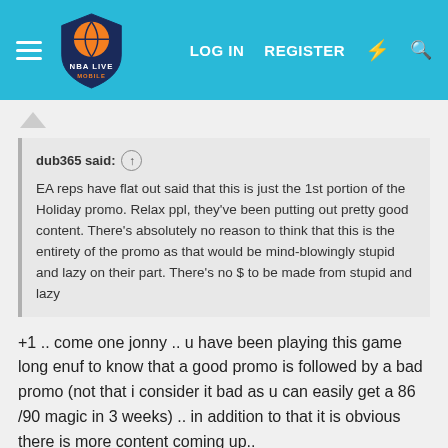NBA LIVE MOBILE — LOG IN  REGISTER
dub365 said: ↑

EA reps have flat out said that this is just the 1st portion of the Holiday promo. Relax ppl, they've been putting out pretty good content. There's absolutely no reason to think that this is the entirety of the promo as that would be mind-blowingly stupid and lazy on their part. There's no $ to be made from stupid and lazy
+1 .. come one jonny .. u have been playing this game long enuf to know that a good promo is followed by a bad promo (not that i consider it bad as u can easily get a 86 /90 magic in 3 weeks) .. in addition to that it is obvious there is more content coming up..
i actually thought there was going to be no content this week so a chance of getting 90 magic without much stamina use seems great to me..